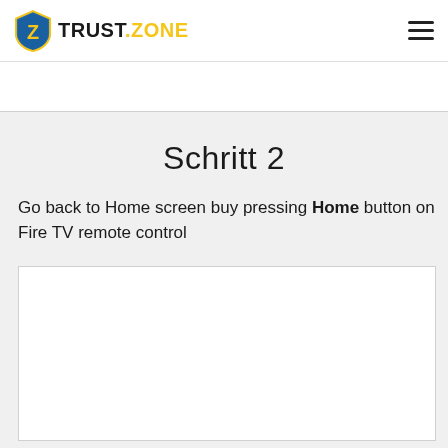TRUST.ZONE
Schritt 2
Go back to Home screen buy pressing Home button on Fire TV remote control
[Figure (screenshot): White image area showing a screenshot placeholder for Fire TV home screen]